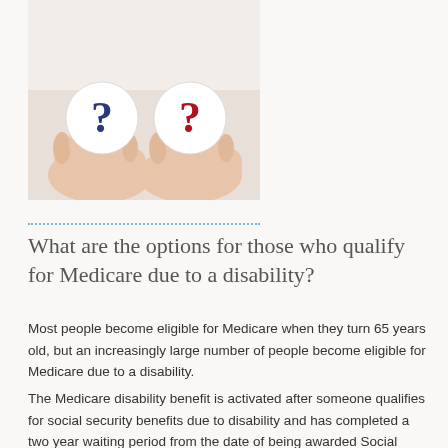[Figure (photo): Two hands holding round balls/eggs with question marks on them — one with a dark blue question mark and one with a red question mark — against a light background.]
What are the options for those who qualify for Medicare due to a disability?
Most people become eligible for Medicare when they turn 65 years old, but an increasingly large number of people become eligible for Medicare due to a disability.
The Medicare disability benefit is activated after someone qualifies for social security benefits due to disability and has completed a two year waiting period from the date of being awarded Social Security disability status.